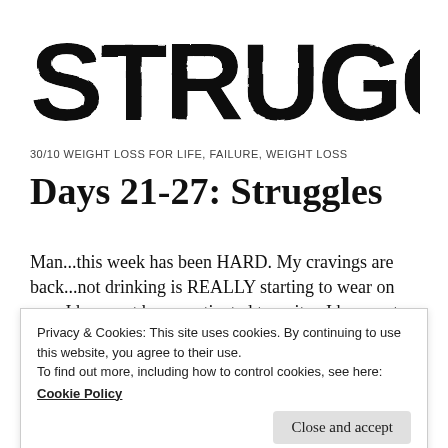[Figure (logo): Large distressed grunge-style text logo reading STRUGGLE in black uppercase bold letters]
30/10 WEIGHT LOSS FOR LIFE, FAILURE, WEIGHT LOSS
Days 21-27: Struggles
Man...this week has been HARD. My cravings are back...not drinking is REALLY starting to wear on me...I have not been motivated to write...I have not
Privacy & Cookies: This site uses cookies. By continuing to use this website, you agree to their use.
To find out more, including how to control cookies, see here:
Cookie Policy
Close and accept
still working. There is no break in sight in my weight